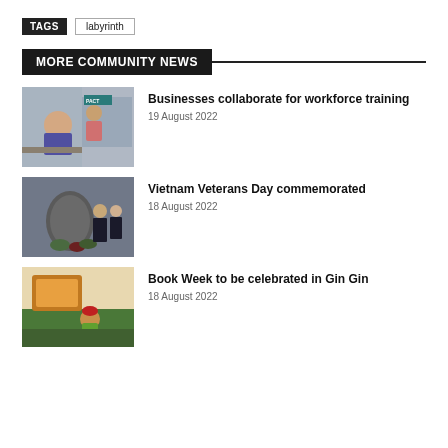TAGS  labyrinth
MORE COMMUNITY NEWS
[Figure (photo): Two women in an office setting with PACT signage in background]
Businesses collaborate for workforce training
19 August 2022
[Figure (photo): Two people standing by a memorial stone with wreaths]
Vietnam Veterans Day commemorated
18 August 2022
[Figure (photo): Child in costume near a book-themed display]
Book Week to be celebrated in Gin Gin
18 August 2022